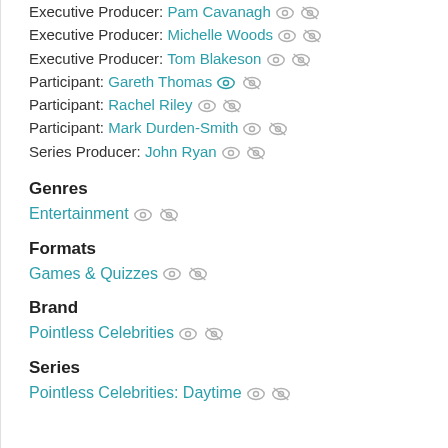Executive Producer: Pam Cavanagh
Executive Producer: Michelle Woods
Executive Producer: Tom Blakeson
Participant: Gareth Thomas
Participant: Rachel Riley
Participant: Mark Durden-Smith
Series Producer: John Ryan
Genres
Entertainment
Formats
Games & Quizzes
Brand
Pointless Celebrities
Series
Pointless Celebrities: Daytime